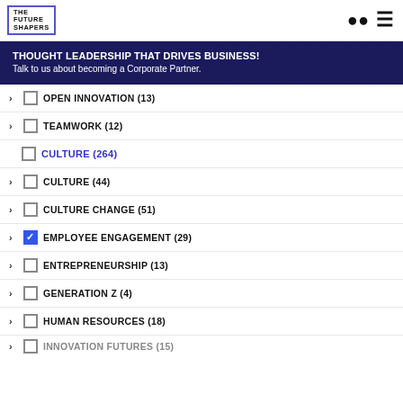THE FUTURE SHAPERS
[Figure (screenshot): Hero banner with text: THOUGHT LEADERSHIP THAT DRIVES BUSINESS! Talk to us about becoming a Corporate Partner.]
OPEN INNOVATION (13)
TEAMWORK (12)
CULTURE (264)
CULTURE (44)
CULTURE CHANGE (51)
EMPLOYEE ENGAGEMENT (29)
ENTREPRENEURSHIP (13)
GENERATION Z (4)
HUMAN RESOURCES (18)
INNOVATION FUTURES (15)